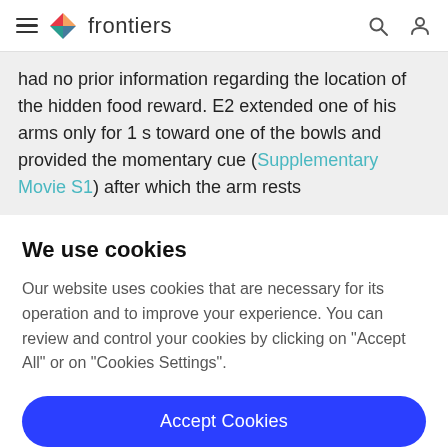frontiers
had no prior information regarding the location of the hidden food reward. E2 extended one of his arms only for 1 s toward one of the bowls and provided the momentary cue (Supplementary Movie S1) after which the arm rests
We use cookies
Our website uses cookies that are necessary for its operation and to improve your experience. You can review and control your cookies by clicking on "Accept All" or on "Cookies Settings".
Accept Cookies
Cookies Settings